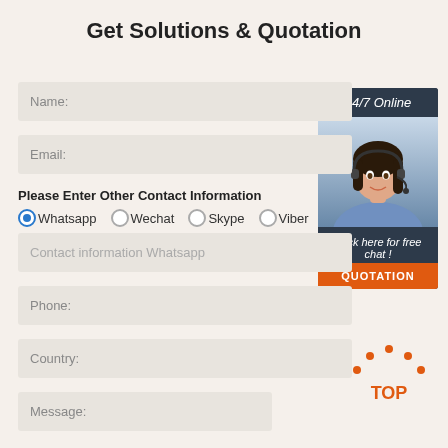Get Solutions & Quotation
Name:
Email:
Please Enter Other Contact Information
Whatsapp  Wechat  Skype  Viber
Contact information Whatsapp
[Figure (photo): Customer service representative with headset smiling, with '24/7 Online' header, 'Click here for free chat!' text and orange QUOTATION button]
Phone:
Country:
[Figure (other): Orange TOP navigation icon with dots forming a house/arrow shape above the text TOP]
Message: